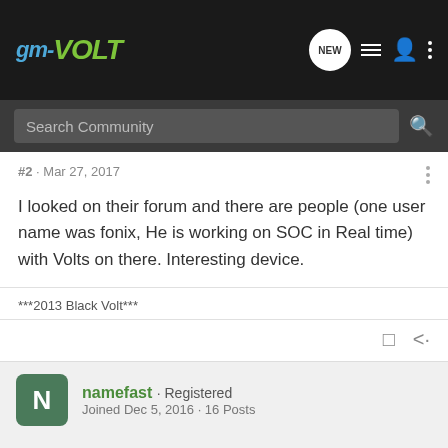GM-VOLT
#2 · Mar 27, 2017
I looked on their forum and there are people (one user name was fonix, He is working on SOC in Real time) with Volts on there. Interesting device.
***2013 Black Volt***
namefast · Registered
Joined Dec 5, 2016 · 16 Posts